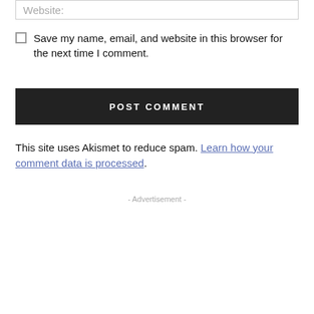Website:
Save my name, email, and website in this browser for the next time I comment.
POST COMMENT
This site uses Akismet to reduce spam. Learn how your comment data is processed.
- Advertisement -